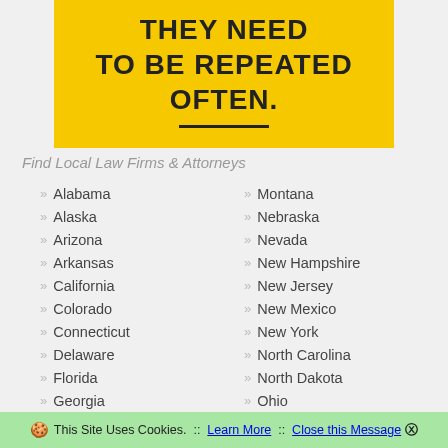[Figure (illustration): Yellow banner with bold uppercase text: THEY NEED TO BE REPEATED OFTEN. with a horizontal divider line below]
Find Local Law Firms & Attorneys
» Alabama
» Montana
» Alaska
» Nebraska
» Arizona
» Nevada
» Arkansas
» New Hampshire
» California
» New Jersey
» Colorado
» New Mexico
» Connecticut
» New York
» Delaware
» North Carolina
» Florida
» North Dakota
» Georgia
» Ohio
» Hawaii
» Oklahoma
» Idaho
» Oregon
» Illinois
» Pennsylvania
🍪 This Site Uses Cookies.  ::  Learn More  ::  Close this Message ⊗